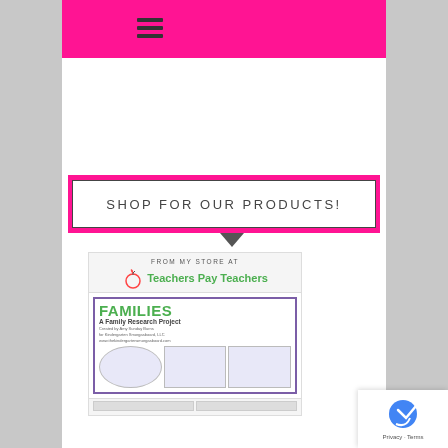[Figure (screenshot): Pink hot-pink header bar with hamburger menu icon (three horizontal lines)]
SHOP FOR OUR PRODUCTS!
[Figure (logo): Teachers Pay Teachers store logo with apple icon and green text]
[Figure (screenshot): Product cover: FAMILIES A Family Research Project with circular diagrams and worksheet previews]
[Figure (logo): reCAPTCHA Privacy - Terms badge in bottom right corner]